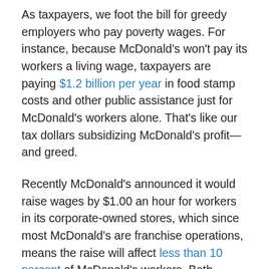As taxpayers, we foot the bill for greedy employers who pay poverty wages. For instance, because McDonald's won't pay its workers a living wage, taxpayers are paying $1.2 billion per year in food stamp costs and other public assistance just for McDonald's workers alone. That's like our tax dollars subsidizing McDonald's profit—and greed.
Recently McDonald's announced it would raise wages by $1.00 an hour for workers in its corporate-owned stores, which since most McDonald's are franchise operations, means the raise will affect less than 10 percent of McDonald's workers. Beth Schaffer, who works at a McDonald's in Charleston, South Carolina, and came to New York for the protests, shrugged her shoulders about the raise. After all, every single McDonald's in South Carolina is a franchise not covered by the $1.00-an-hour